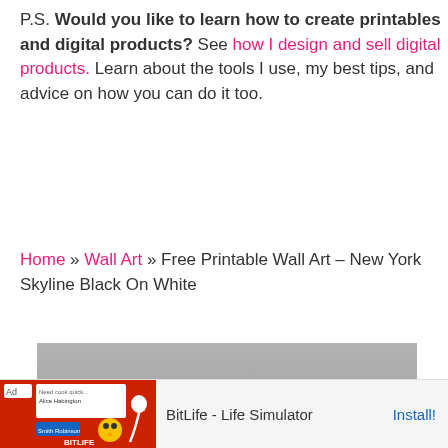P.S. Would you like to learn how to create printables and digital products? See how I design and sell digital products. Learn about the tools I use, my best tips, and advice on how you can do it too.
Home » Wall Art » Free Printable Wall Art – New York Skyline Black On White
[Figure (photo): Black and white photo of a mother lying on the ground lifting a toddler above her face, about to kiss]
[Figure (screenshot): Ad banner: BitLife - Life Simulator with Install! button]